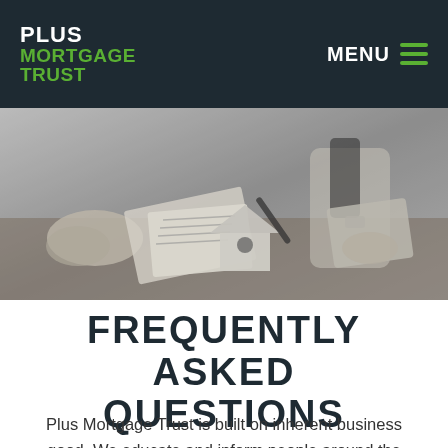PLUS MORTGAGE TRUST | MENU
[Figure (photo): Black and white photo of two people at a desk with mortgage documents, a pen, and a small house model]
FREQUENTLY ASKED QUESTIONS
Plus Mortgage Trust is built on inherent business good. We educate and inform people around the